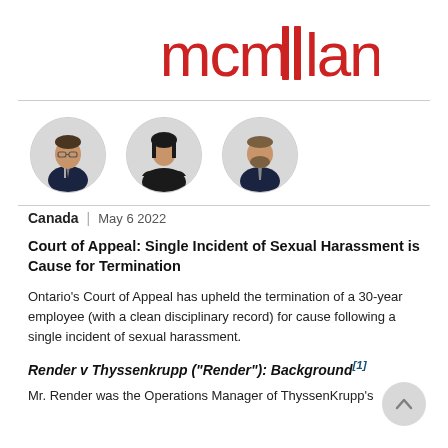[Figure (logo): McMillan law firm logo in red text]
[Figure (photo): Three circular headshot photos of lawyers in professional attire]
Canada | May 6 2022
Court of Appeal: Single Incident of Sexual Harassment is Cause for Termination
Ontario's Court of Appeal has upheld the termination of a 30-year employee (with a clean disciplinary record) for cause following a single incident of sexual harassment.
Render v Thyssenkrupp ("Render"): Background[1]
Mr. Render was the Operations Manager of ThyssenKrupp's